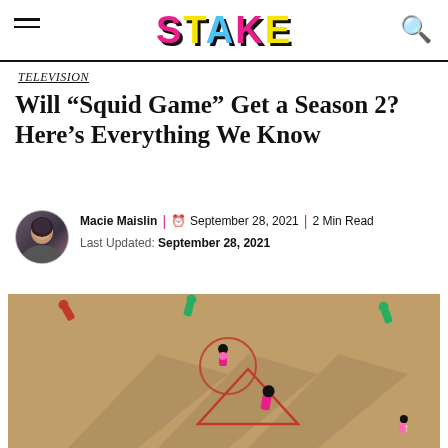STAKE
TELEVISION
Will “Squid Game” Get a Season 2? Here’s Everything We Know
Macie Maislin | ⧐ September 28, 2021 | 2 Min Read
Last Updated: September 28, 2021
[Figure (photo): Aerial view of Squid Game figurines arranged on a sandy surface with geometric shapes drawn in red, photographed from above]